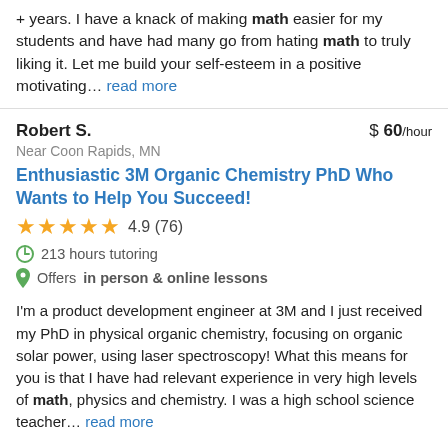+ years. I have a knack of making math easier for my students and have had many go from hating math to truly liking it. Let me build your self-esteem in a positive motivating… read more
Robert S.
$ 60/hour
Near Coon Rapids, MN
Enthusiastic 3M Organic Chemistry PhD Who Wants to Help You Succeed!
4.9 (76)
213 hours tutoring
Offers in person & online lessons
I'm a product development engineer at 3M and I just received my PhD in physical organic chemistry, focusing on organic solar power, using laser spectroscopy! What this means for you is that I have had relevant experience in very high levels of math, physics and chemistry. I was a high school science teacher… read more